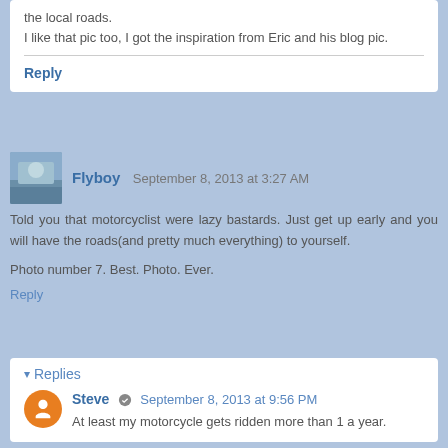the local roads.
I like that pic too, I got the inspiration from Eric and his blog pic.
Reply
Flyboy  September 8, 2013 at 3:27 AM
Told you that motorcyclist were lazy bastards. Just get up early and you will have the roads(and pretty much everything) to yourself.
Photo number 7. Best. Photo. Ever.
Reply
▾ Replies
Steve  September 8, 2013 at 9:56 PM
At least my motorcycle gets ridden more than 1 a year.